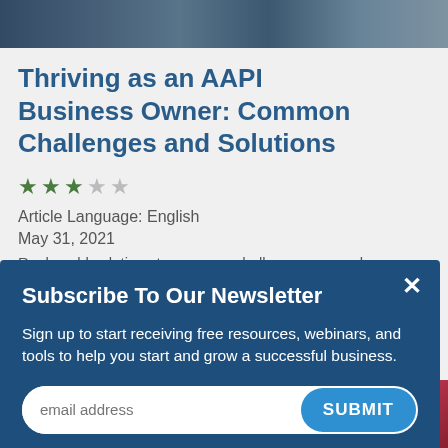[Figure (photo): Top photo strip showing a person in blue clothing]
Thriving as an AAPI Business Owner: Common Challenges and Solutions
★★★☆☆
Article Language: English
May 31, 2021
Real world solutions to common challenges can make
Subscribe To Our Newsletter
Sign up to start receiving free resources, webinars, and tools to help you start and grow a successful business.
email address  SUBMIT
[Figure (photo): Bottom photo strip showing crafts and flowers]